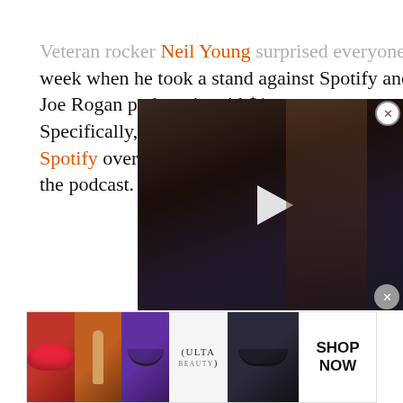Veteran rocker Neil Young surprised everyone this week when he took a stand against Spotify and the Joe Rogan podcast it paid $1… Specifically, he asked that hi… Spotify over COVID-19 misin… the podcast.
[Figure (photo): A dark video overlay showing a blonde woman, with a white play button in the center. A close button (X) appears in the top right corner.]
Spotify is “spreading fake information about vaccines,” the singer said in an open letter.
CONTENT CONTINUES AFTER AD
[Figure (photo): Ulta Beauty advertisement banner showing makeup product images (lips, brush, eye makeup, logo, eye close-up) with SHOP NOW call to action.]